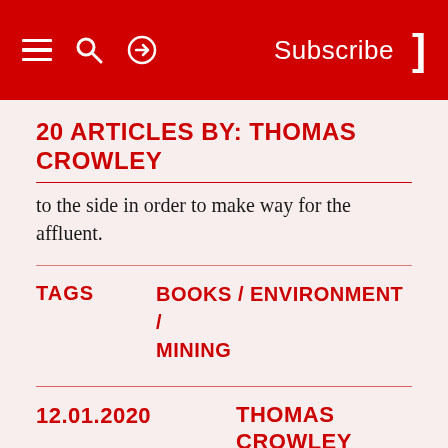Subscribe
20 ARTICLES BY: THOMAS CROWLEY
to the side in order to make way for the affluent.
TAGS   BOOKS / ENVIRONMENT / MINING
12.01.2020   THOMAS CROWLEY